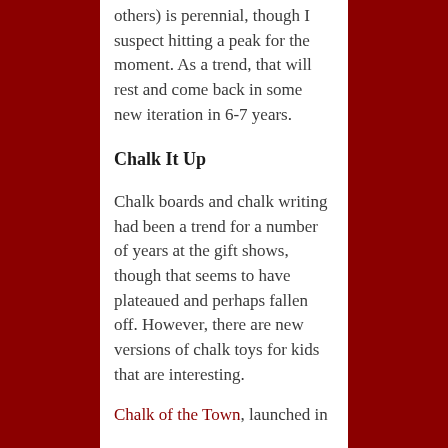others) is perennial, though I suspect hitting a peak for the moment. As a trend, that will rest and come back in some new iteration in 6-7 years.
Chalk It Up
Chalk boards and chalk writing had been a trend for a number of years at the gift shows, though that seems to have plateaued and perhaps fallen off. However, there are new versions of chalk toys for kids that are interesting.
Chalk of the Town, launched in